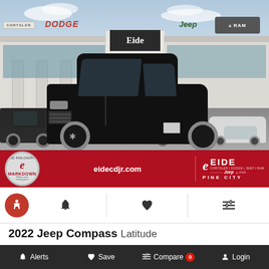[Figure (photo): Dealership photo showing Eide Chrysler Dodge Jeep Ram dealership building in Pine City with a black 2022 Jeep Compass Latitude parked in the foreground. Red promotional banner at bottom shows eidecdjr.com and Eide logo.]
2022 Jeep Compass Latitude
Stock: #99144 · VIN: 3C4NJDBB4NT195198 · Status: In stock
Alerts  Save  Compare 0  Login